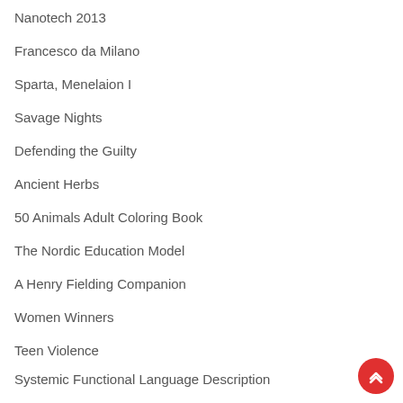Nanotech 2013
Francesco da Milano
Sparta, Menelaion I
Savage Nights
Defending the Guilty
Ancient Herbs
50 Animals Adult Coloring Book
The Nordic Education Model
A Henry Fielding Companion
Women Winners
Teen Violence
Systemic Functional Language Description